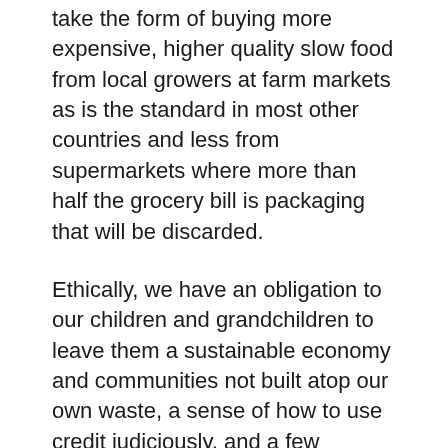take the form of buying more expensive, higher quality slow food from local growers at farm markets as is the standard in most other countries and less from supermarkets where more than half the grocery bill is packaging that will be discarded.
Ethically, we have an obligation to our children and grandchildren to leave them a sustainable economy and communities not built atop our own waste, a sense of how to use credit judiciously, and a few beautiful things they will treasure throughout their lifetimes and perhaps leave to their children, rather than a houseful of short-lived junk they will empty into a dumpster when we die.